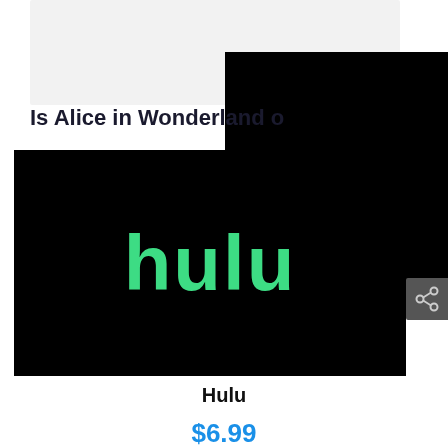Is Alice in Wonderland o
[Figure (logo): Hulu logo: black background with green 'hulu' text in bold lowercase font]
Hulu
$6.99